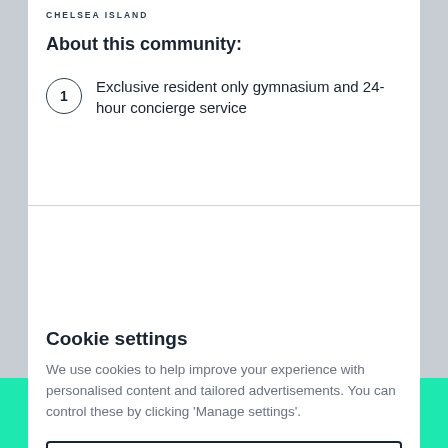CHELSEA ISLAND
About this community:
Exclusive resident only gymnasium and 24-hour concierge service
Cookie settings
We use cookies to help improve your experience with personalised content and tailored advertisements. You can control these by clicking 'Manage settings'.
Manage settings
Allow all cookies
Email developer
Call developer